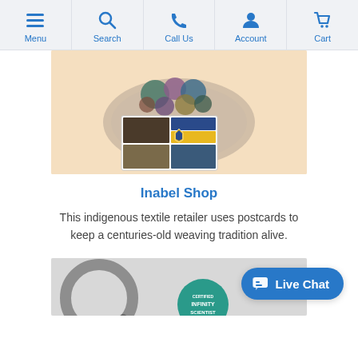Menu | Search | Call Us | Account | Cart
[Figure (photo): Product photo showing colorful fabric bundles on a decorative plate with a postcard/brochure featuring Inabel textile designs on a peach/cream background]
Inabel Shop
This indigenous textile retailer uses postcards to keep a centuries-old weaving tradition alive.
[Figure (photo): Partial photo showing a magnifying glass and a teal certification badge reading 'Certified Infinity Scientist']